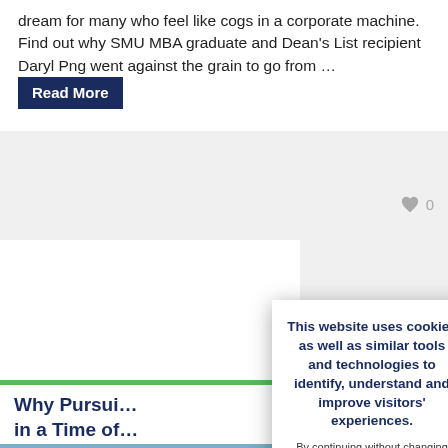dream for many who feel like cogs in a corporate machine. Find out why SMU MBA graduate and Dean's List recipient Daryl Png went against the grain to go from … Read More
0
Why Pursui… in a Time of…
This website uses cookies as well as similar tools and technologies to identify, understand and improve visitors' experiences. By continuing without changing your cookie settings, we assume that you agree to this. Otherwise, you may change the cookie setting in your browser. To find out more, please visit our cookies policy.
CLOSE